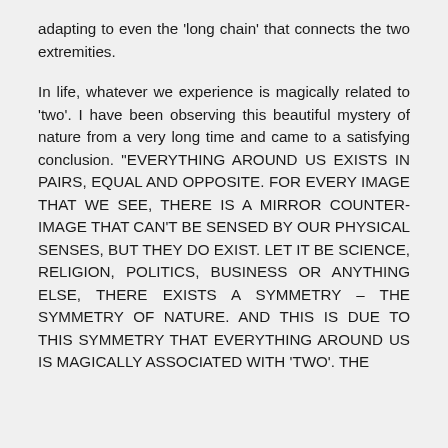adapting to even the 'long chain' that connects the two extremities.
In life, whatever we experience is magically related to 'two'. I have been observing this beautiful mystery of nature from a very long time and came to a satisfying conclusion. "EVERYTHING AROUND US EXISTS IN PAIRS, EQUAL AND OPPOSITE. FOR EVERY IMAGE THAT WE SEE, THERE IS A MIRROR COUNTER-IMAGE THAT CAN'T BE SENSED BY OUR PHYSICAL SENSES, BUT THEY DO EXIST. LET IT BE SCIENCE, RELIGION, POLITICS, BUSINESS OR ANYTHING ELSE, THERE EXISTS A SYMMETRY – THE SYMMETRY OF NATURE. AND THIS IS DUE TO THIS SYMMETRY THAT EVERYTHING AROUND US IS MAGICALLY ASSOCIATED WITH 'TWO'. THE